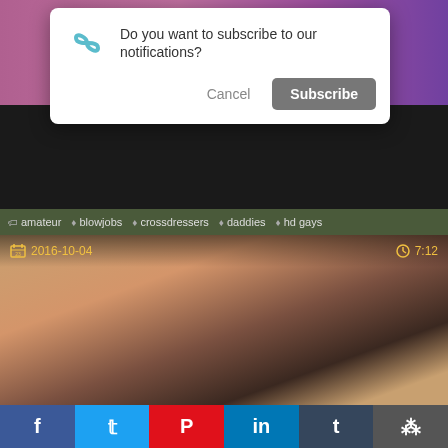[Figure (screenshot): Browser notification subscription dialog overlay on an adult video website. Dialog shows an infinity-loop logo, text 'Do you want to subscribe to our notifications?', Cancel and Subscribe buttons. Below are category tags: amateur, blowjobs, crossdressers, daddies, hd gays. A video thumbnail with date 2016-10-04 and duration 7:12 is visible. Social sharing buttons at bottom: Facebook, Twitter, Pinterest, LinkedIn, Tumblr, and another icon.]